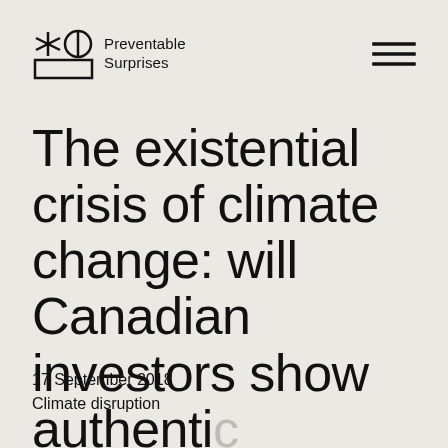Preventable Surprises
The existential crisis of climate change: will Canadian investors show authentic leadership?
17 September 2018
Climate disruption